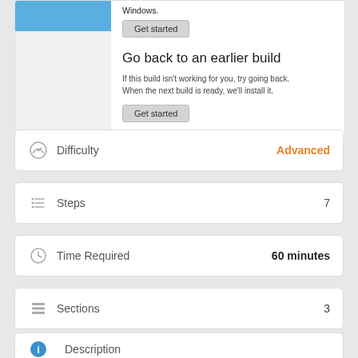[Figure (screenshot): Screenshot of Windows settings panel showing 'Go back to an earlier build' option with two 'Get started' buttons]
Go back to an earlier build
If this build isn't working for you, try going back. When the next build is ready, we'll install it.
Difficulty  Advanced
Steps  7
Time Required  60 minutes
Sections  3
Description